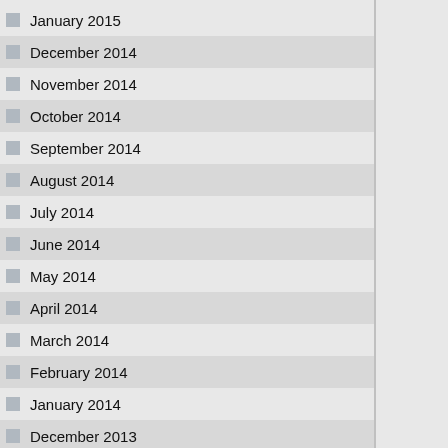January 2015
December 2014
November 2014
October 2014
September 2014
August 2014
July 2014
June 2014
May 2014
April 2014
March 2014
February 2014
January 2014
December 2013
November 2013
October 2013
September 2013
August 2013
July 2013
June 2013
May 2013
April 2013
March 2013
February 2013
January 2013
craVon–Hound of the Puckerbrush–is one y